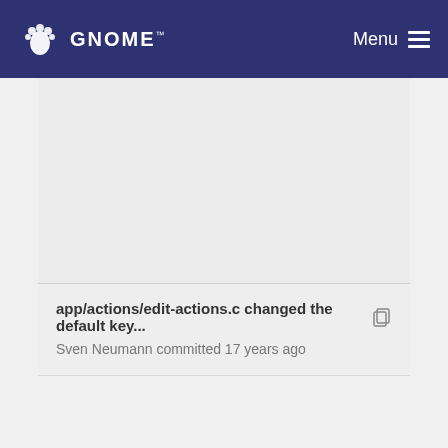GNOME Menu
app/actions/edit-actions.c changed the default key... Sven Neumann committed 17 years ago